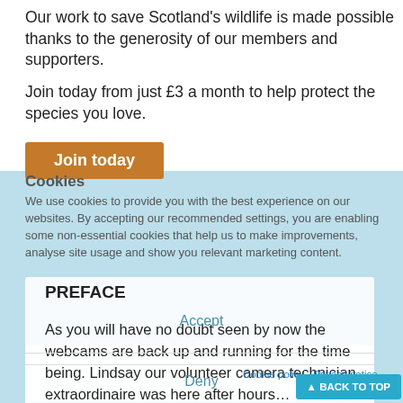Our work to save Scotland's wildlife is made possible thanks to the generosity of our members and supporters.
Join today from just £3 a month to help protect the species you love.
Join today
Cookies
We use cookies to provide you with the best experience on our websites. By accepting our recommended settings, you are enabling some non-essential cookies that help us to make improvements, analyse site usage and show you relevant marketing content.
PREFACE
Accept
As you will have no doubt seen by now the webcams are back up and running for the time being. Lindsay our volunteer camera technician extraordinaire was here after hours…
Deny
Preferences
06 September 2012
Diary 2012 - Webcams
Cookie policy · Privacy notice
▲ BACK TO TOP